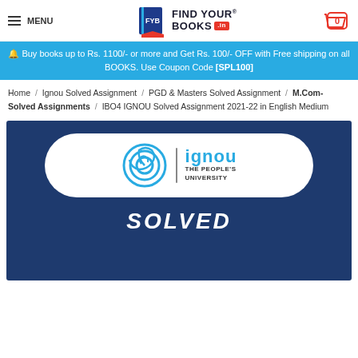MENU | FIND YOUR BOOKS .in | Cart: 0
🔔 Buy books up to Rs. 1100/- or more and Get Rs. 100/- OFF with Free shipping on all BOOKS. Use Coupon Code [SPL100]
Home / Ignou Solved Assignment / PGD & Masters Solved Assignment / M.Com- Solved Assignments / IBO4 IGNOU Solved Assignment 2021-22 in English Medium
[Figure (photo): Product image showing IGNOU The People's University logo on dark navy background with text SOLVED at bottom]